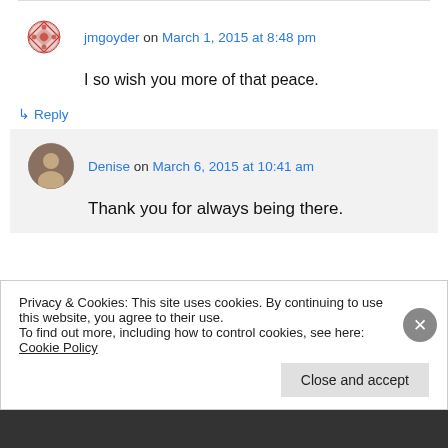jmgoyder on March 1, 2015 at 8:48 pm
I so wish you more of that peace.
↳ Reply
Denise on March 6, 2015 at 10:41 am
Thank you for always being there.
Privacy & Cookies: This site uses cookies. By continuing to use this website, you agree to their use.
To find out more, including how to control cookies, see here: Cookie Policy
Close and accept